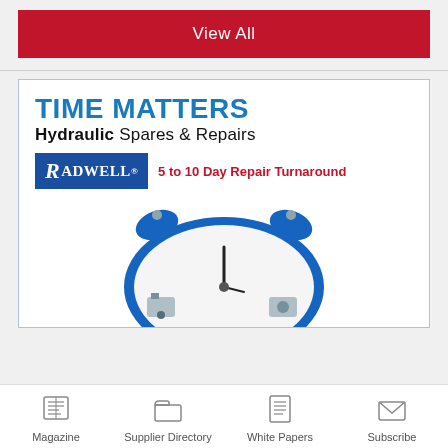View All
[Figure (illustration): Radwell advertisement: TIME MATTERS - HYDRAULIC SPARES & REPAIRS. Radwell logo with '5 to 10 Day Repair Turnaround'. Blue alarm clock with hydraulic equipment images on the clock face.]
Magazine  Supplier Directory  White Papers  Subscribe